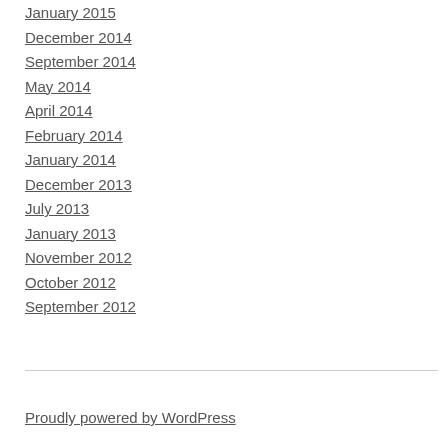January 2015
December 2014
September 2014
May 2014
April 2014
February 2014
January 2014
December 2013
July 2013
January 2013
November 2012
October 2012
September 2012
Proudly powered by WordPress